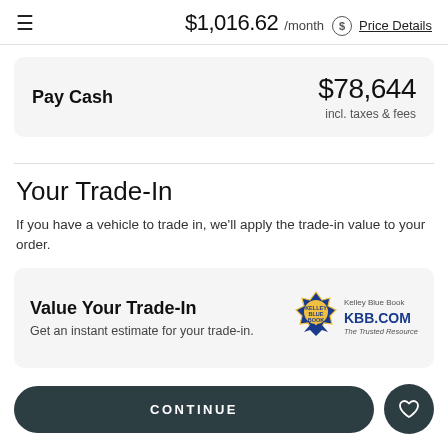$1,016.62 /month  Price Details
Pay Cash  $78,644  incl. taxes & fees
Your Trade-In
If you have a vehicle to trade in, we'll apply the trade-in value to your order.
Value Your Trade-In
Get an instant estimate for your trade-in.
CONTINUE